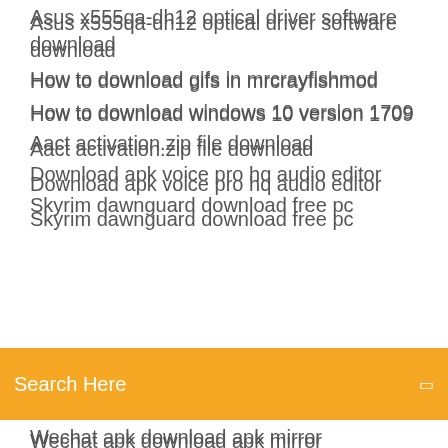Asus x555qa-dh12 optical driver software download
How to download gifs in mrcrayfishmod
How to download windows 10 version 1709
Aact activation.zip file download
Download apk voice pro hq audio editor
Skyrim dawnguard download free pc
[Figure (screenshot): Orange search bar with text 'Search Here' and a small icon on the right]
Wechat apk download apk mirror
Ultima version del internet download accelerator
Defrag free download for android
Full free gta vice city apk download
The three secret cities epub free download torrent
Farmville 2 country escape pc download
Valerica - high-res skin texture download
Intel high definition audio error driver download
Financial logo templates free download
Vmware convert 5.01 download